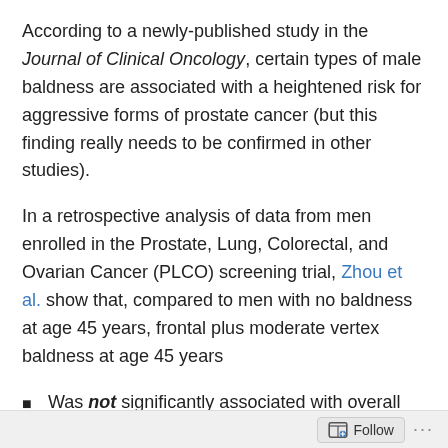According to a newly-published study in the Journal of Clinical Oncology, certain types of male baldness are associated with a heightened risk for aggressive forms of prostate cancer (but this finding really needs to be confirmed in other studies).
In a retrospective analysis of data from men enrolled in the Prostate, Lung, Colorectal, and Ovarian Cancer (PLCO) screening trial, Zhou et al. show that, compared to men with no baldness at age 45 years, frontal plus moderate vertex baldness at age 45 years
Was not significantly associated with overall risk for prostate cancer (hazard ratio [HR] = 1.19)
Was not significantly associated with risk for non-aggressive forms of prostate cancer (HR = 0.97)
Follow ···